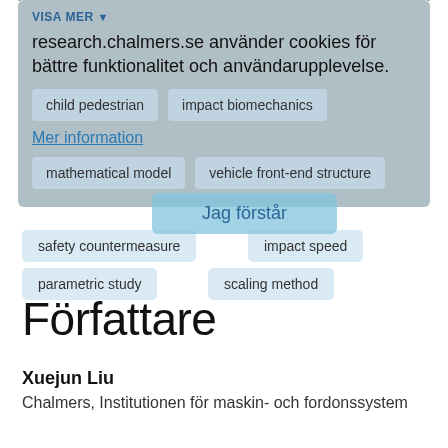[Figure (screenshot): Cookie consent overlay on research.chalmers.se with 'VISA MER' toggle, cookie notice text in Swedish, tag buttons (child pedestrian, impact biomechanics, mathematical model, vehicle front-end structure), 'Mer information' link, and 'Jag förstår' button]
child pedestrian
impact biomechanics
mathematical model
vehicle front-end structure
safety countermeasure
impact speed
parametric study
scaling method
Författare
Xuejun Liu
Chalmers, Institutionen för maskin- och fordonssystem